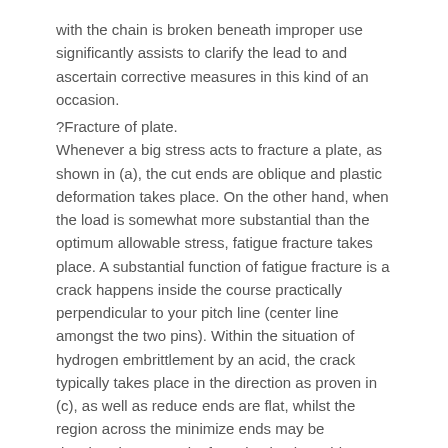with the chain is broken beneath improper use significantly assists to clarify the lead to and ascertain corrective measures in this kind of an occasion.
?Fracture of plate.
Whenever a big stress acts to fracture a plate, as shown in (a), the cut ends are oblique and plastic deformation takes place. On the other hand, when the load is somewhat more substantial than the optimum allowable stress, fatigue fracture takes place. A substantial function of fatigue fracture is a crack happens inside the course practically perpendicular to your pitch line (center line amongst the two pins). Within the situation of hydrogen embrittlement by an acid, the crack typically takes place in the direction as proven in (c), as well as reduce ends are flat, whilst the region across the minimize ends may be decolored as a result of erosion by the acid.